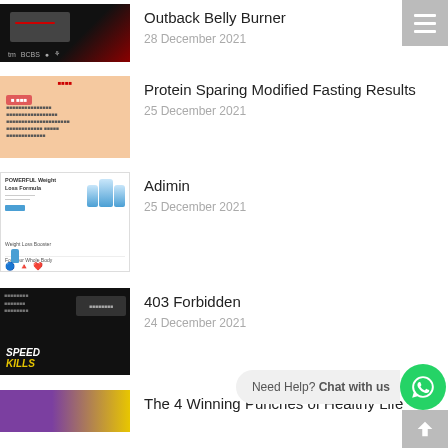[Figure (screenshot): Thumbnail image for Outback Belly Burner article - dark background with red element and media logos]
Outback Belly Burner
28 December 2021
[Figure (screenshot): Thumbnail for Protein Sparing Modified Fasting Results - peach/salmon background with text]
Protein Sparing Modified Fasting Results
25 December 2021
[Figure (screenshot): Thumbnail for Adimin article - supplement bottles on white background]
Adimin
25 December 2021
[Figure (screenshot): Thumbnail for 403 Forbidden - dark background with SPEED KILLS text in yellow]
403 Forbidden
24 December 2021
[Figure (screenshot): Thumbnail for The 4 Winning Punches of Healthy Life - purple and yellow background]
The 4 Winning Punches of Healthy Life
Need Help? Chat with us